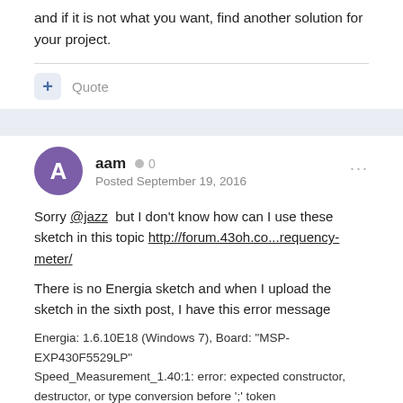and if it is not what you want, find another solution for your project.
Quote
aam  0
Posted September 19, 2016
Sorry @jazz but I don't know how can I use these sketch in this topic http://forum.43oh.co...requency-meter/
There is no Energia sketch and when I upload the sketch in the sixth post, I have this error message
Energia: 1.6.10E18 (Windows 7), Board: "MSP-EXP430F5529LP"
Speed_Measurement_1.40:1: error: expected constructor, destructor, or type conversion before ';' token
Speed_Measurement_1.40:2: error: expected constructor, destructor, or type conversion